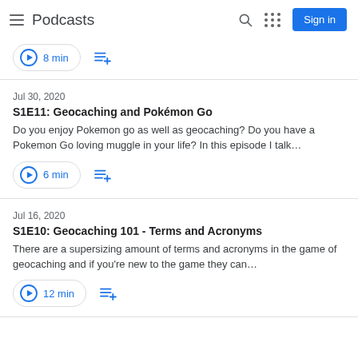Podcasts
8 min
Jul 30, 2020
S1E11: Geocaching and Pokémon Go
Do you enjoy Pokemon go as well as geocaching? Do you have a Pokemon Go loving muggle in your life? In this episode I talk…
6 min
Jul 16, 2020
S1E10: Geocaching 101 - Terms and Acronyms
There are a supersizing amount of terms and acronyms in the game of geocaching and if you're new to the game they can…
12 min